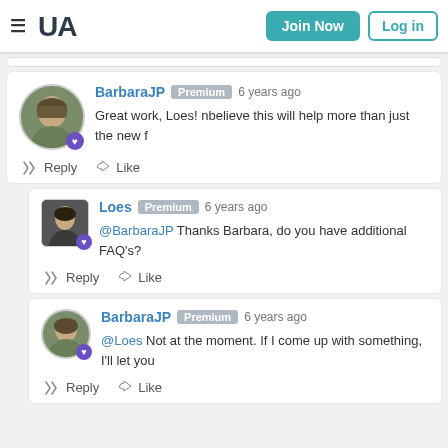WA | Join Now | Log in
BarbaraJP Premium 6 years ago
Great work, Loes! nbelieve this will help more than just the new f
Reply | Like
Loes Premium 6 years ago
@BarbaraJP Thanks Barbara, do you have additional FAQ's?
Reply | Like
BarbaraJP Premium 6 years ago
@Loes Not at the moment. If I come up with something, I'll let you
Reply | Like